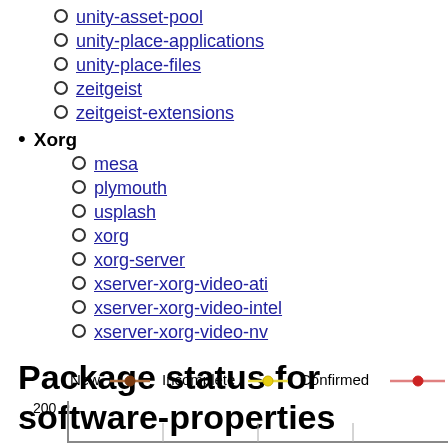unity-asset-pool
unity-place-applications
unity-place-files
zeitgeist
zeitgeist-extensions
Xorg (bold bullet)
mesa
plymouth
usplash
xorg
xorg-server
xserver-xorg-video-ati
xserver-xorg-video-intel
xserver-xorg-video-nv
Package status for software-properties
[Figure (line-chart): Line chart legend showing New (brown line/dot), Incomplete (yellow line/dot), Confirmed (red line/dot), and partial y-axis with value 200 visible]